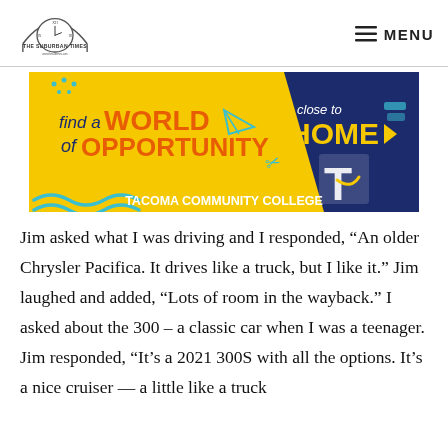THE SUBURBAN TIMES | MENU
[Figure (illustration): Tacoma Community College advertisement banner: 'find a WORLD of OPPORTUNITY close to HOME' with TCC logo on dark blue background with yellow and teal accents]
Jim asked what I was driving and I responded, “An older Chrysler Pacifica. It drives like a truck, but I like it.” Jim laughed and added, “Lots of room in the wayback.” I asked about the 300 – a classic car when I was a teenager. Jim responded, “It’s a 2021 300S with all the options. It’s a nice cruiser — a little like a truck